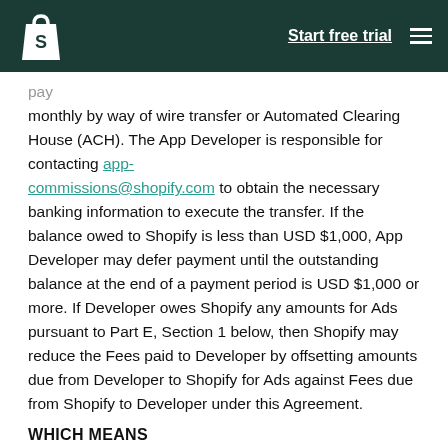Start free trial
monthly by way of wire transfer or Automated Clearing House (ACH). The App Developer is responsible for contacting app-commissions@shopify.com to obtain the necessary banking information to execute the transfer. If the balance owed to Shopify is less than USD $1,000, App Developer may defer payment until the outstanding balance at the end of a payment period is USD $1,000 or more. If Developer owes Shopify any amounts for Ads pursuant to Part E, Section 1 below, then Shopify may reduce the Fees paid to Developer by offsetting amounts due from Developer to Shopify for Ads against Fees due from Shopify to Developer under this Agreement.
WHICH MEANS